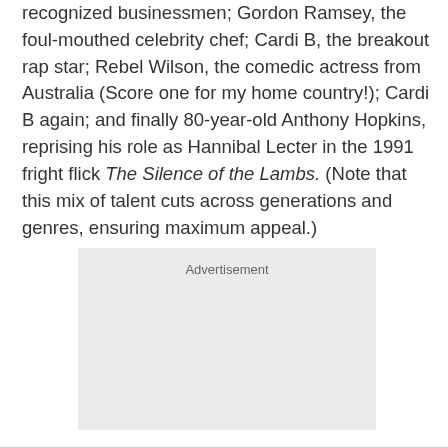recognized businessmen; Gordon Ramsey, the foul-mouthed celebrity chef; Cardi B, the breakout rap star; Rebel Wilson, the comedic actress from Australia (Score one for my home country!); Cardi B again; and finally 80-year-old Anthony Hopkins, reprising his role as Hannibal Lecter in the 1991 fright flick The Silence of the Lambs. (Note that this mix of talent cuts across generations and genres, ensuring maximum appeal.)
[Figure (other): Advertisement placeholder box with light gray background and 'Advertisement' label text at top center]